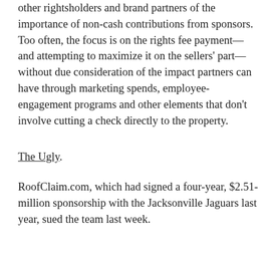other rightsholders and brand partners of the importance of non-cash contributions from sponsors. Too often, the focus is on the rights fee payment—and attempting to maximize it on the sellers' part—without due consideration of the impact partners can have through marketing spends, employee-engagement programs and other elements that don't involve cutting a check directly to the property.
The Ugly.
RoofClaim.com, which had signed a four-year, $2.51-million sponsorship with the Jacksonville Jaguars last year, sued the team last week.